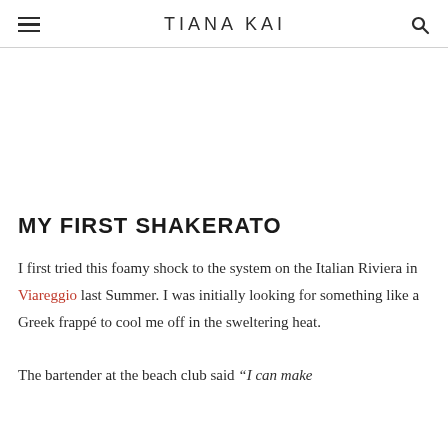TIANA KAI
MY FIRST SHAKERATO
I first tried this foamy shock to the system on the Italian Riviera in Viareggio last Summer. I was initially looking for something like a Greek frappé to cool me off in the sweltering heat.

The bartender at the beach club said "I can make